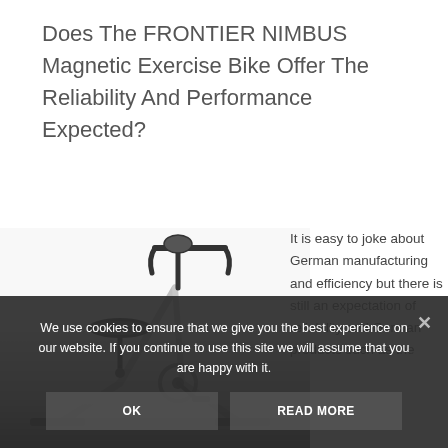Does The FRONTIER NIMBUS Magnetic Exercise Bike Offer The Reliability And Performance Expected?
[Figure (photo): Photo of a FRONTIER NIMBUS magnetic exercise bike showing the handlebars, seat, and frame on a white background, partially darkened at the bottom.]
It is easy to joke about German manufacturing and efficiency but there is still an expectation of reliability and German products such as the
We use cookies to ensure that we give you the best experience on our website. If you continue to use this site we will assume that you are happy with it.